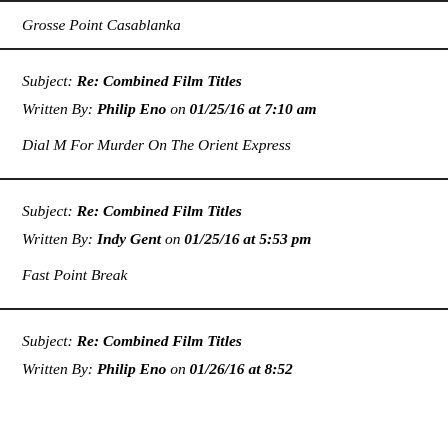Grosse Point Casablanka
Subject: Re: Combined Film Titles
Written By: Philip Eno on 01/25/16 at 7:10 am
Dial M For Murder On The Orient Express
Subject: Re: Combined Film Titles
Written By: Indy Gent on 01/25/16 at 5:53 pm
Fast Point Break
Subject: Re: Combined Film Titles
Written By: Philip Eno on 01/26/16 at 8:52